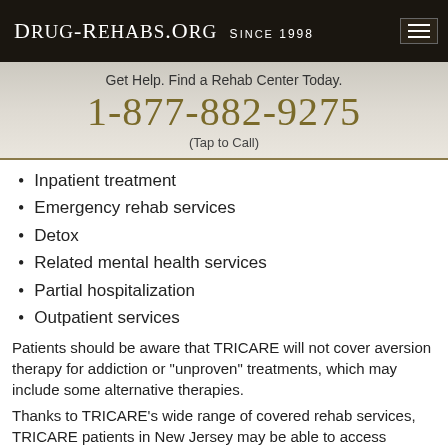Drug-Rehabs.org Since 1998
Get Help. Find a Rehab Center Today.
1-877-882-9275
(Tap to Call)
Inpatient treatment
Emergency rehab services
Detox
Related mental health services
Partial hospitalization
Outpatient services
Patients should be aware that TRICARE will not cover aversion therapy for addiction or "unproven" treatments, which may include some alternative therapies.
Thanks to TRICARE’s wide range of covered rehab services, TRICARE patients in New Jersey may be able to access treatment in an affordable manner.